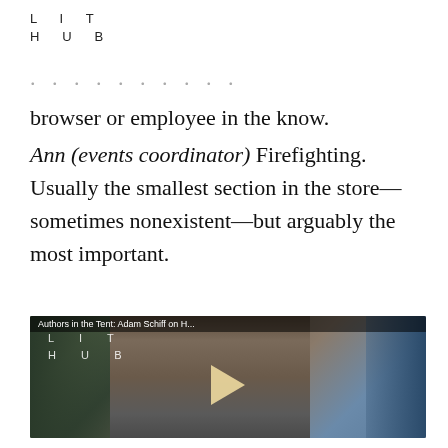LIT
HUB
browser or employee in the know.
Ann (events coordinator) Firefighting. Usually the smallest section in the store—sometimes nonexistent—but arguably the most important.
[Figure (screenshot): Video player thumbnail showing a woman with dark hair reading at a table, with Lit Hub watermark and title 'Authors in the Tent: Adam Schiff on H...' A play button triangle is visible in the center.]